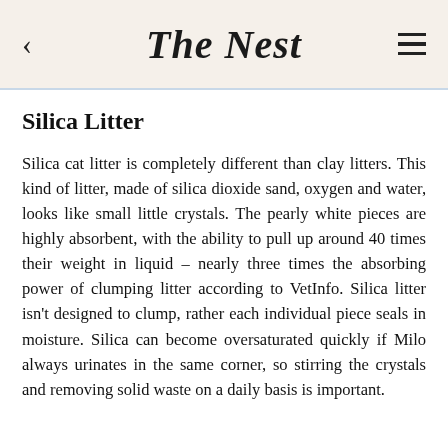The Nest
Silica Litter
Silica cat litter is completely different than clay litters. This kind of litter, made of silica dioxide sand, oxygen and water, looks like small little crystals. The pearly white pieces are highly absorbent, with the ability to pull up around 40 times their weight in liquid – nearly three times the absorbing power of clumping litter according to VetInfo. Silica litter isn't designed to clump, rather each individual piece seals in moisture. Silica can become oversaturated quickly if Milo always urinates in the same corner, so stirring the crystals and removing solid waste on a daily basis is important.